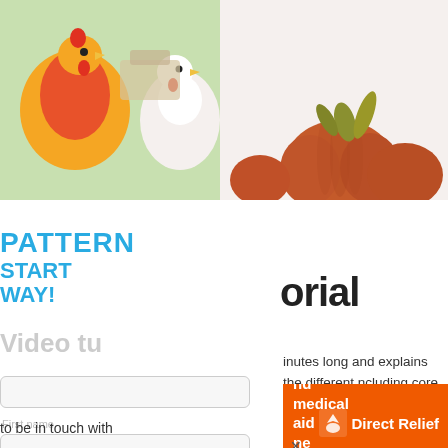[Figure (photo): Top left: felt rooster/chicken craft figures with orange and white coloring]
[Figure (photo): Top right: felt/velvet pumpkins in orange with yellow-green stems on white background]
PATTERN
START
WAY!
Video tutorial
inutes long and explains the different ncluding core wool) and how I like to
[Figure (infographic): Orange Direct Relief banner: 'nd medical aid ne >>' with Direct Relief logo]
to be in touch with